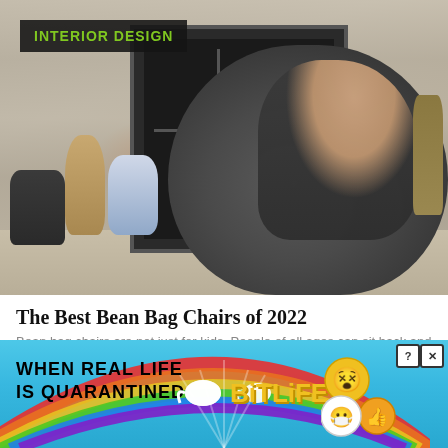[Figure (photo): Woman relaxing on a large dark gray bean bag chair in front of a fireplace with stone wall surround. Indoor setting with decorative vases and plants nearby.]
The Best Bean Bag Chairs of 2022
Bean bag chairs are not just for kids. People of all ages can sit back and relax on the...
10 months ago
[Figure (photo): Advertisement banner: WHEN REAL LIFE IS QUARANTINED - BitLife mobile game ad with rainbow arc, emoji characters, and close/question buttons.]